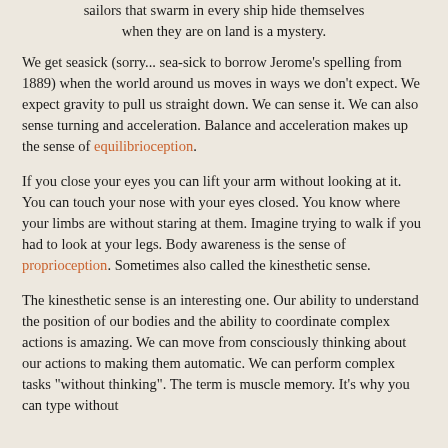sailors that swarm in every ship hide themselves when they are on land is a mystery.
We get seasick (sorry... sea-sick to borrow Jerome's spelling from 1889) when the world around us moves in ways we don't expect. We expect gravity to pull us straight down. We can sense it. We can also sense turning and acceleration. Balance and acceleration makes up the sense of equilibrioception.
If you close your eyes you can lift your arm without looking at it. You can touch your nose with your eyes closed. You know where your limbs are without staring at them. Imagine trying to walk if you had to look at your legs. Body awareness is the sense of proprioception. Sometimes also called the kinesthetic sense.
The kinesthetic sense is an interesting one. Our ability to understand the position of our bodies and the ability to coordinate complex actions is amazing. We can move from consciously thinking about our actions to making them automatic. We can perform complex tasks "without thinking". The term is muscle memory. It's why you can type without